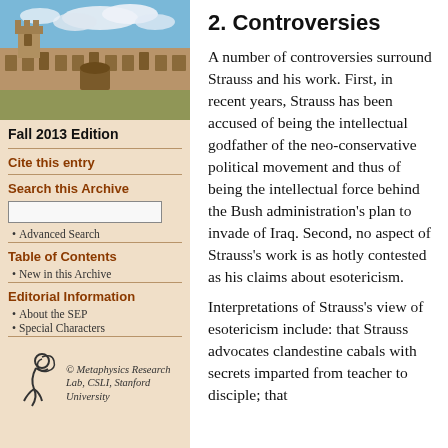[Figure (photo): Photograph of a historic university building (sandstone, Gothic/collegiate style) with blue sky and clouds]
Fall 2013 Edition
Cite this entry
Search this Archive
Advanced Search
Table of Contents
New in this Archive
Editorial Information
About the SEP
Special Characters
[Figure (logo): Metaphysics Research Lab logo with stylized figure]
© Metaphysics Research Lab, CSLI, Stanford University
2. Controversies
A number of controversies surround Strauss and his work. First, in recent years, Strauss has been accused of being the intellectual godfather of the neo-conservative political movement and thus of being the intellectual force behind the Bush administration's plan to invade of Iraq. Second, no aspect of Strauss's work is as hotly contested as his claims about esotericism.
Interpretations of Strauss's view of esotericism include: that Strauss advocates clandestine cabals with secrets imparted from teacher to disciple; that